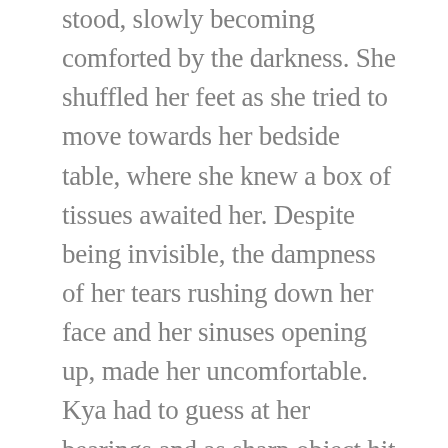stood, slowly becoming comforted by the darkness. She shuffled her feet as she tried to move towards her bedside table, where she knew a box of tissues awaited her. Despite being invisible, the dampness of her tears rushing down her face and her sinuses opening up, made her uncomfortable. Kya had to guess at her bearings and as sharp object hit her shin, she tumbled over her laundry basket causing her desk chair to roll as she hit it on her way to the floor. She flickered back into existence to find little drops of blood blossoming from her leg, and her baby finger bent at a strange angle. With her good hand Kya grabbed her shin and put pressure on the scrape. Cold seemed to seep from her hand to her leg, and when she removed her hand, the scrape had vanished and so had the pain. While still half sitting, and half lying on the floor of her room, her hands both shook as she attempted to place her finger back into the proper